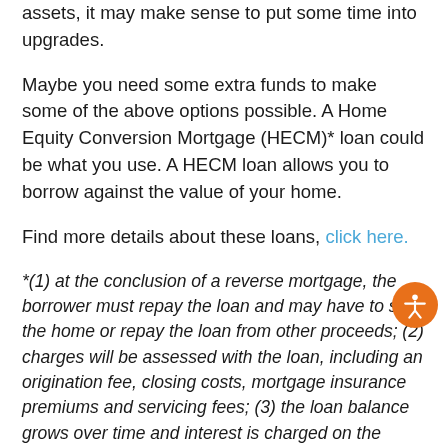assets, it may make sense to put some time into upgrades.
Maybe you need some extra funds to make some of the above options possible. A Home Equity Conversion Mortgage (HECM)* loan could be what you use. A HECM loan allows you to borrow against the value of your home.
Find more details about these loans, click here.
*(1) at the conclusion of a reverse mortgage, the borrower must repay the loan and may have to sell the home or repay the loan from other proceeds; (2) charges will be assessed with the loan, including an origination fee, closing costs, mortgage insurance premiums and servicing fees; (3) the loan balance grows over time and interest is charged on the outstanding balance; (4) the borrower remains responsible for property taxes, hazard insurance and home maintenance, and